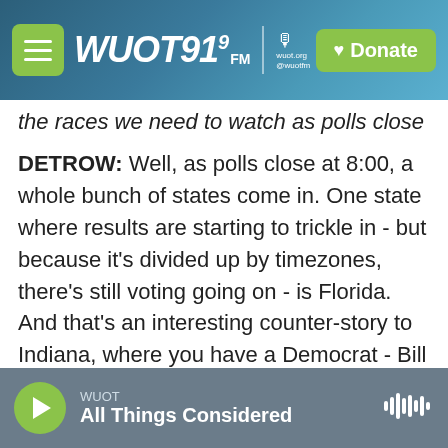[Figure (screenshot): WUOT 91.9 FM radio station header bar with green menu button, WUOT 91.9 FM logo, microphone icon, and green Donate button on dark blue gradient background]
the races we need to watch as polls close at 8:00?
DETROW: Well, as polls close at 8:00, a whole bunch of states come in. One state where results are starting to trickle in - but because it's divided up by timezones, there's still voting going on - is Florida. And that's an interesting counter-story to Indiana, where you have a Democrat - Bill Nelson is actually leading by a couple of points against Republican Governor Rick Scott right now. This is a state that Democrats earlier in the year thought was a state that would - they would have to try really hard to not lose. But so far, Nelson's up in
WUOT
All Things Considered